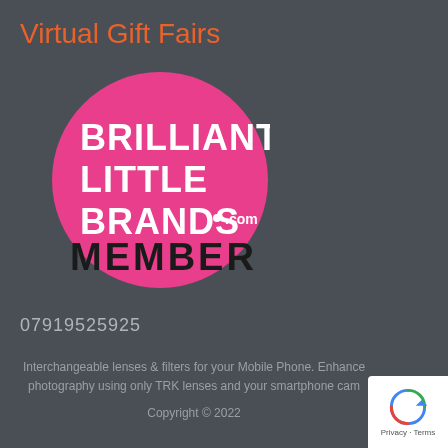Virtual Gift Fairs
[Figure (logo): Brilliant Little Brands .com MEMBER badge — a magenta/pink circle with white bold text BRILLIANT LITTLE BRANDS .com and black text MEMBER]
07919525925
Interchangeable lenses & filters for your Mobile Phone. Enhance photography using only TRK lenses and your smartphone cam
Copyright © 2022
[Figure (logo): Google reCAPTCHA badge with Privacy and Terms text]